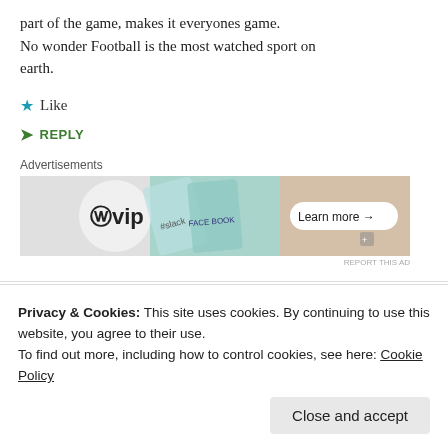part of the game, makes it everyones game. No wonder Football is the most watched sport on earth.
★ Like
➤ REPLY
[Figure (other): WordPress VIP advertisement banner with WP logo, slack and FACEBOOK icons, and 'Learn more →' button]
Privacy & Cookies: This site uses cookies. By continuing to use this website, you agree to their use. To find out more, including how to control cookies, see here: Cookie Policy
Close and accept